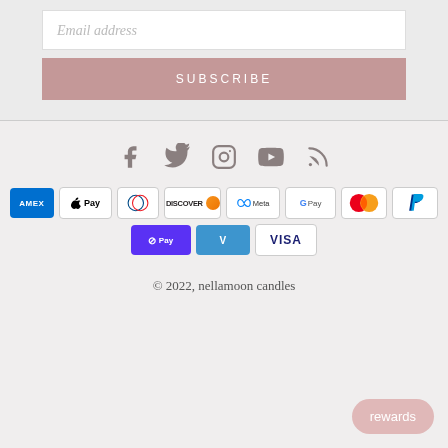Email address
SUBSCRIBE
[Figure (infographic): Social media icons: Facebook, Twitter, Instagram, YouTube, RSS feed — all in muted brownish-gray]
[Figure (infographic): Payment method badges: Amex, Apple Pay, Diners Club, Discover, Meta Pay, Google Pay, Mastercard, PayPal, Shop Pay, Venmo, Visa]
© 2022, nellamoon candles
rewards